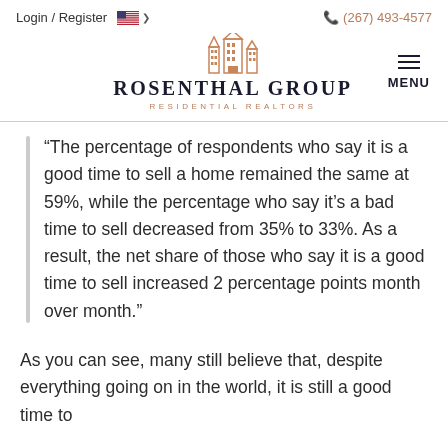Login / Register   🇺🇸 ∨   (267) 493-4577
[Figure (logo): Rosenthal Group Residential Realtors logo with building icon and MENU button]
“The percentage of respondents who say it is a good time to sell a home remained the same at 59%, while the percentage who say it’s a bad time to sell decreased from 35% to 33%. As a result, the net share of those who say it is a good time to sell increased 2 percentage points month over month.”
As you can see, many still believe that, despite everything going on in the world, it is still a good time to